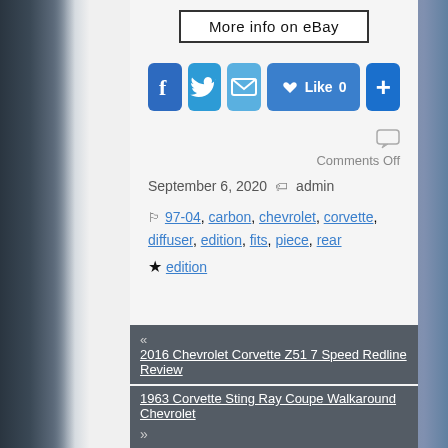[Figure (screenshot): eBay button with border: More info on eBay]
[Figure (infographic): Social sharing buttons: Facebook, Twitter, Email, Like 0, Plus]
Comments Off
September 6, 2020  admin
97-04, carbon, chevrolet, corvette, diffuser, edition, fits, piece, rear
edition
« 2016 Chevrolet Corvette Z51 7 Speed Redline Review
1963 Corvette Sting Ray Coupe Walkaround Chevrolet »